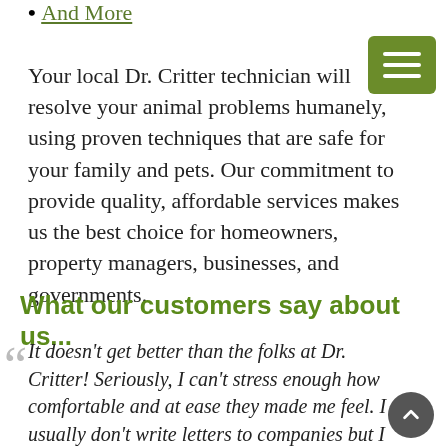And More
Your local Dr. Critter technician will resolve your animal problems humanely, using proven techniques that are safe for your family and pets. Our commitment to provide quality, affordable services makes us the best choice for homeowners, property managers, businesses, and governments.
What our customers say about us...
It doesn't get better than the folks at Dr. Critter! Seriously, I can't stress enough how comfortable and at ease they made me feel. I usually don't write letters to companies but I just had to this time. Thanks guys! Enjoy the cookies!